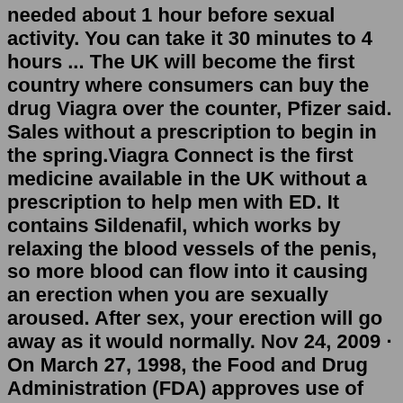needed about 1 hour before sexual activity. You can take it 30 minutes to 4 hours ... The UK will become the first country where consumers can buy the drug Viagra over the counter, Pfizer said. Sales without a prescription to begin in the spring.Viagra Connect is the first medicine available in the UK without a prescription to help men with ED. It contains Sildenafil, which works by relaxing the blood vessels of the penis, so more blood can flow into it causing an erection when you are sexually aroused. After sex, your erection will go away as it would normally. Nov 24, 2009 · On March 27, 1998, the Food and Drug Administration (FDA) approves use of the drug Viagra, an oral medication that treats impotence. Sildenafil, the chemical name for Viagra, is an artificial ... You can buy Viagra for $58.00 per tablet while purchasing from US Pharmacies. However, Same brand and strength can be purchased a lot cheaper for between $12.00 and $17.00 per tablet when ordered from Canadian Pharmacy online. Let's see how much Viagra cost per tablet using our